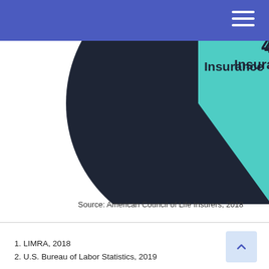[Figure (pie-chart): Life Insurance Types]
Source: American Council of Life Insurers, 2018
1. LIMRA, 2018
2. U.S. Bureau of Labor Statistics, 2019